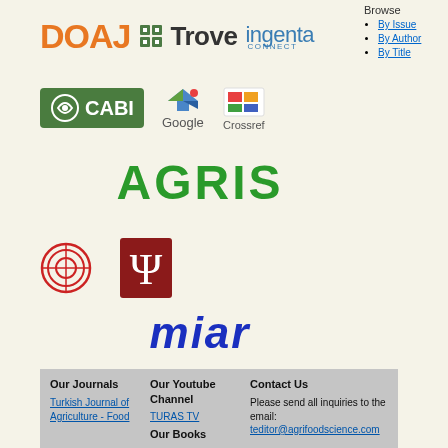[Figure (logo): DOAJ, Trove, and ingentaconnect logos in a row at top]
[Figure (logo): CABI, Google Scholar, and Crossref logos in second row]
[Figure (logo): AGRIS logo in green bold text]
[Figure (logo): Red circular logo and Indiana University Press logo]
[Figure (logo): MIAR logo in dark blue italic text]
By Issue
By Author
By Title
| Our Journals | Our Youtube Channel | Contact Us |
| --- | --- | --- |
| Turkish Journal of Agriculture - Food | TURAS TV | Please send all inquiries to the email: teditor@agrifoodscience.com |
|  | Our Books |  |